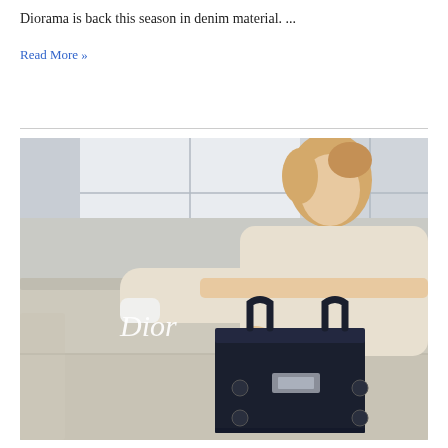Diorama is back this season in denim material. ...
Read More »
[Figure (photo): Dior fashion advertisement showing a blonde woman leaning over a beige sofa, wearing a cream knit sweater, holding a navy blue Diorama handbag. The word 'Dior' appears in white text on the left side of the image.]